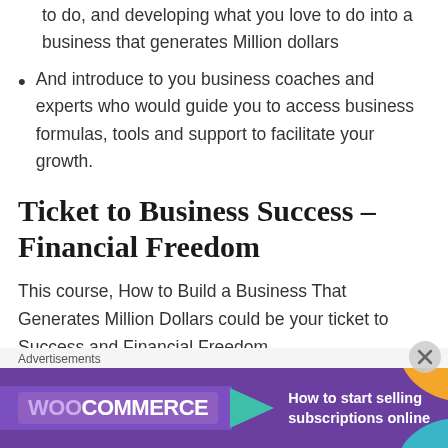to do, and developing what you love to do into a business that generates Million dollars
And introduce to you business coaches and experts who would guide you to access business formulas, tools and support to facilitate your growth.
Ticket to Business Success – Financial Freedom
This course, How to Build a Business That Generates Million Dollars could be your ticket to Success and Financial Freedom.
Yes, you heard me. You can develop self and skills to
[Figure (screenshot): WooCommerce advertisement banner: purple background with WooCommerce logo, teal arrow, and text 'How to start selling subscriptions online' with orange and blue leaf decorations. Labeled 'Advertisements'.]